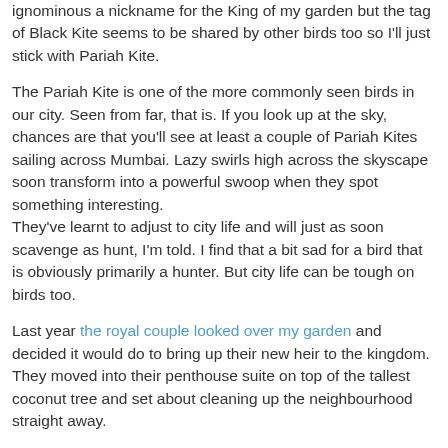ignominous a nickname for the King of my garden but the tag of Black Kite seems to be shared by other birds too so I'll just stick with Pariah Kite.
The Pariah Kite is one of the more commonly seen birds in our city. Seen from far, that is. If you look up at the sky, chances are that you'll see at least a couple of Pariah Kites sailing across Mumbai. Lazy swirls high across the skyscape soon transform into a powerful swoop when they spot something interesting. They've learnt to adjust to city life and will just as soon scavenge as hunt, I'm told. I find that a bit sad for a bird that is obviously primarily a hunter. But city life can be tough on birds too.
Last year the royal couple looked over my garden and decided it would do to bring up their new heir to the kingdom. They moved into their penthouse suite on top of the tallest coconut tree and set about cleaning up the neighbourhood straight away.
Housekeeping is definitely not their strong point because